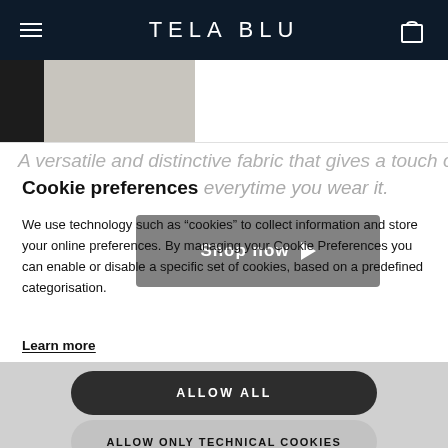TELA BLU
[Figure (photo): Partial product photo strip below navigation bar, dark clothing on light background]
A versatile and distinctive fabric that gives a touch of elegance everytime you wear it.
[Figure (screenshot): Shop now video overlay button with play icon]
Cookie preferences
We use technology such as “cookies” to collect information and store your online preferences. By managing your Cookie Preferences you can enable or disable a specific set of cookies, based on a predefined categorisation.
Learn more
ALLOW ALL
ALLOW ONLY TECHNICAL COOKIES